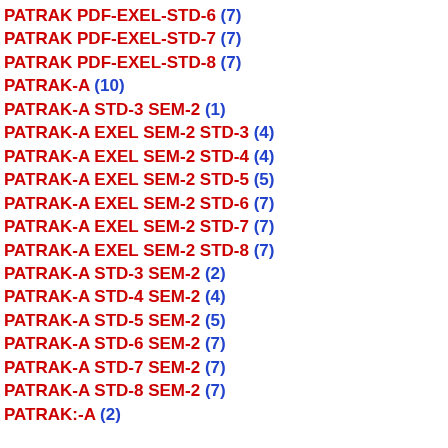PATRAK PDF-EXEL-STD-6 (7)
PATRAK PDF-EXEL-STD-7 (7)
PATRAK PDF-EXEL-STD-8 (7)
PATRAK-A (10)
PATRAK-A STD-3 SEM-2 (1)
PATRAK-A EXEL SEM-2 STD-3 (4)
PATRAK-A EXEL SEM-2 STD-4 (4)
PATRAK-A EXEL SEM-2 STD-5 (5)
PATRAK-A EXEL SEM-2 STD-6 (7)
PATRAK-A EXEL SEM-2 STD-7 (7)
PATRAK-A EXEL SEM-2 STD-8 (7)
PATRAK-A STD-3 SEM-2 (2)
PATRAK-A STD-4 SEM-2 (4)
PATRAK-A STD-5 SEM-2 (5)
PATRAK-A STD-6 SEM-2 (7)
PATRAK-A STD-7 SEM-2 (7)
PATRAK-A STD-8 SEM-2 (7)
PATRAK:-A (2)